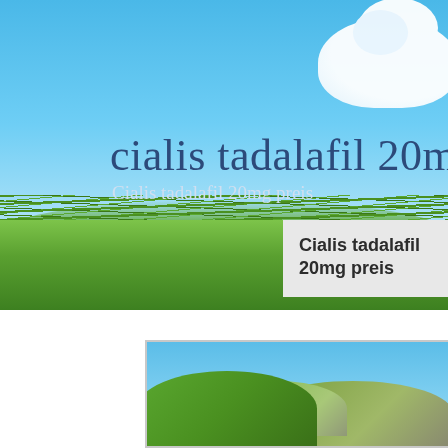[Figure (photo): Nature background image with blue sky, white cloud in top right, and lush green grass in the lower portion]
cialis tadalafil 20mg pre
Cialis tadalafil 20mg preis
Cialis tadalafil 20mg preis
[Figure (photo): Green rolling hills with blue sky background]